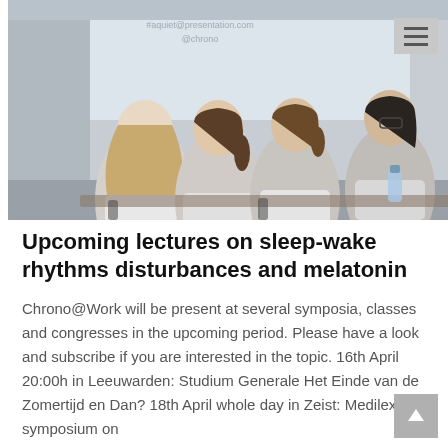[Figure (photo): Photograph of four people (seen from behind) sitting in a lecture/conference room, watching a projected presentation screen. The attendees appear to be wearing white coats or light clothing. A water bottle is visible on the desk to the right.]
Upcoming lectures on sleep-wake rhythms disturbances and melatonin
Chrono@Work will be present at several symposia, classes and congresses in the upcoming period. Please have a look and subscribe if you are interested in the topic. 16th April 20:00h in Leeuwarden: Studium Generale Het Einde van de Zomertijd en Dan? 18th April whole day in Zeist: Medilex symposium on